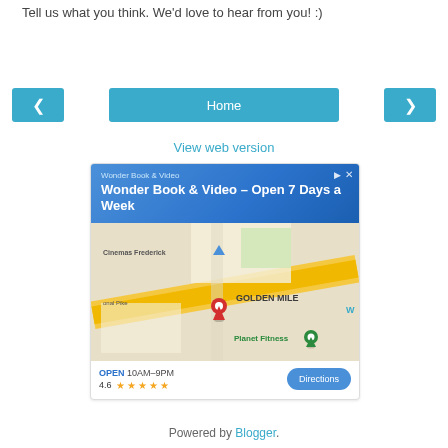Tell us what you think. We'd love to hear from you! :)
[Figure (screenshot): Navigation bar with left arrow, Home button, and right arrow buttons in teal/blue color]
View web version
[Figure (screenshot): Google ad for Wonder Book & Video showing a map with location pin near Golden Mile and Planet Fitness, rating 4.6 stars, open 10AM-9PM, with Directions button]
Powered by Blogger.